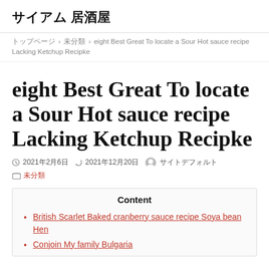サイアム 居酒屋
トップページ › 未分類 › eight Best Great To locate a Sour Hot sauce recipe Lacking Ketchup Recipke
eight Best Great To locate a Sour Hot sauce recipe Lacking Ketchup Recipke
2021年2月6日  2021年12月20日  サイトデフォルト
未分類
Content
British Scarlet Baked cranberry sauce recipe Soya bean Hen
Conjoin My family Bulgaria